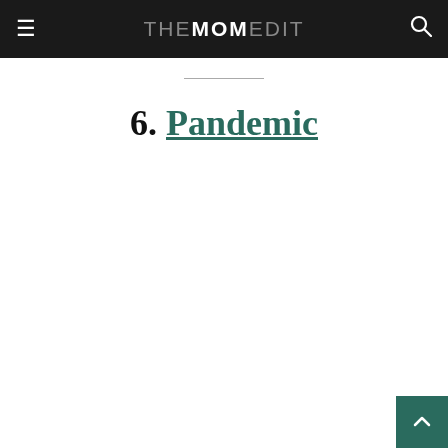THEMEDIT — THE MOM EDIT
6. Pandemic